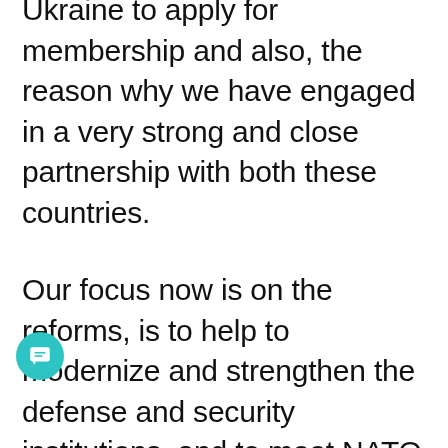Ukraine to apply for membership and also, the reason why we have engaged in a very strong and close partnership with both these countries.
Our focus now is on the reforms, is to help to modernize and strengthen the defense and security institutions, and to meet NATO standards. But also while we respect decisions of countries not to apply for